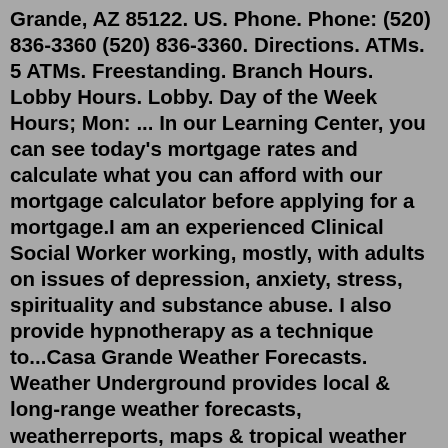Grande, AZ 85122. US. Phone. Phone: (520) 836-3360 (520) 836-3360. Directions. ATMs. 5 ATMs. Freestanding. Branch Hours. Lobby Hours. Lobby. Day of the Week Hours; Mon: ... In our Learning Center, you can see today's mortgage rates and calculate what you can afford with our mortgage calculator before applying for a mortgage.I am an experienced Clinical Social Worker working, mostly, with adults on issues of depression, anxiety, stress, spirituality and substance abuse. I also provide hypnotherapy as a technique to...Casa Grande Weather Forecasts. Weather Underground provides local & long-range weather forecasts, weatherreports, maps & tropical weather conditions for the Casa Grande area. ... Tuesday 08/16 ..."Casa Grande" is Spanish for "big house" ( Siwañ Wa'a Ki: in O'odham ); these names refer to the largest structure on the site, which is what remains of a four-story structure that may have been abandoned by 1450. The structure is made of caliche, and has managed to